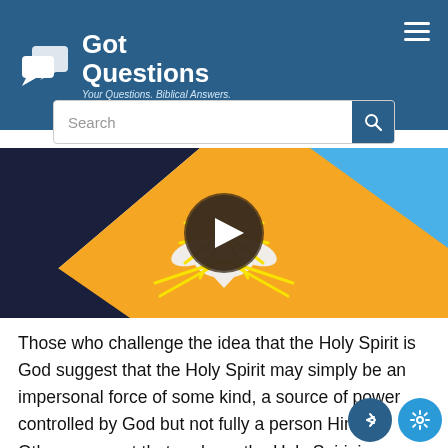[Figure (logo): GotQuestions logo with speech bubble icon and text 'Got Questions - Your Questions. Biblical Answers.']
[Figure (screenshot): Video thumbnail showing a white dove illustration with yellow light rays on an orange and dark blue background, with a play button overlay circle]
Those who challenge the idea that the Holy Spirit is God suggest that the Holy Spirit may simply be an impersonal force of some kind, a source of power controlled by God but not fully a person Himself. Others suggest that perhaps the Holy Spirit is just another name for Jesus, in spirit form, apart from